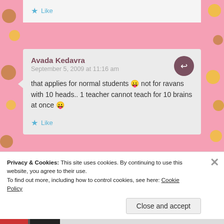Like
Avada Kedavra
September 5, 2009 at 11:16 am
that applies for normal students 😛 not for ravans with 10 heads.. 1 teacher cannot teach for 10 brains at once 😛
Like
Shruti
Privacy & Cookies: This site uses cookies. By continuing to use this website, you agree to their use.
To find out more, including how to control cookies, see here: Cookie Policy
Close and accept